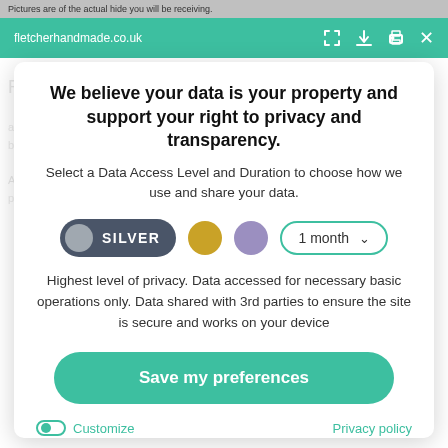Pictures are of the actual hide you will be receiving.
fletcherhandmade.co.uk
We believe your data is your property and support your right to privacy and transparency.
Select a Data Access Level and Duration to choose how we use and share your data.
[Figure (screenshot): Data access level selector with SILVER toggle button (dark grey with grey circle), gold circle, purple circle, and '1 month' dropdown selector with teal border]
Highest level of privacy. Data accessed for necessary basic operations only. Data shared with 3rd parties to ensure the site is secure and works on your device
Save my preferences
Customize
Privacy policy